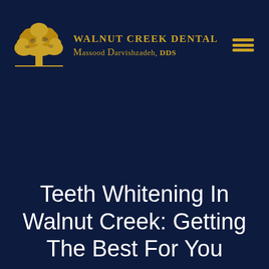[Figure (logo): Walnut Creek Dental logo with golden oak tree illustration and text 'WALNUT CREEK DENTAL Massood Darvishzadeh, DDS' in gold on dark navy background, with hamburger menu icon in top right]
Teeth Whitening In Walnut Creek: Getting The Best For You